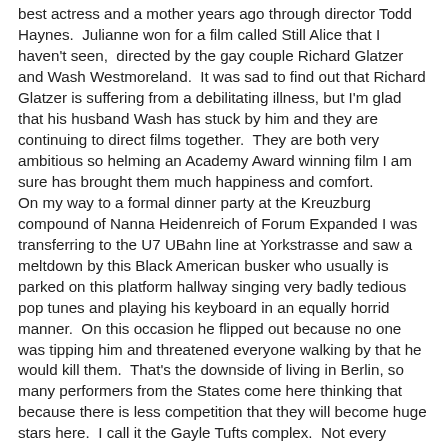best actress and a mother years ago through director Todd Haynes. Julianne won for a film called Still Alice that I haven't seen, directed by the gay couple Richard Glatzer and Wash Westmoreland. It was sad to find out that Richard Glatzer is suffering from a debilitating illness, but I'm glad that his husband Wash has stuck by him and they are continuing to direct films together. They are both very ambitious so helming an Academy Award winning film I am sure has brought them much happiness and comfort.
On my way to a formal dinner party at the Kreuzburg compound of Nanna Heidenreich of Forum Expanded I was transferring to the U7 UBahn line at Yorkstrasse and saw a meltdown by this Black American busker who usually is parked on this platform hallway singing very badly tedious pop tunes and playing his keyboard in an equally horrid manner. On this occasion he flipped out because no one was tipping him and threatened everyone walking by that he would kill them. That's the downside of living in Berlin, so many performers from the States come here thinking that because there is less competition that they will become huge stars here. I call it the Gayle Tufts complex. Not every mediocre American performer can become a success abroad like the talentless Ms. Tufts who I am told is quite popular on German television for her Dinglish routine and also performing in the bland upscale cabaret scene in Berlin.
Frau Heidenreich's fabulous supper was filled with lots of